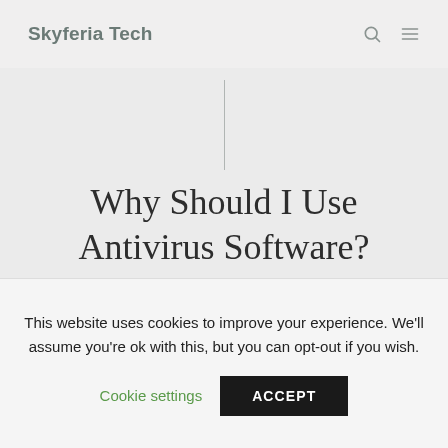Skyferia Tech
Why Should I Use Antivirus Software?
June 1, 2021 | pcj9sq
This website uses cookies to improve your experience. We'll assume you're ok with this, but you can opt-out if you wish.